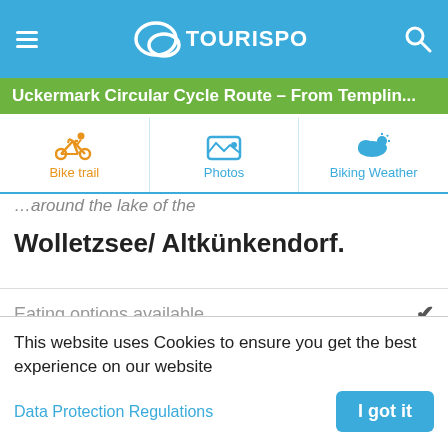TouriSpo
Uckermark Circular Cycle Route – From Templin...
[Figure (screenshot): Navigation tab bar with Bike trail (active, orange), Photos, and Biking Weather tabs]
...around the lake of the
Wolletzsee/ Altkünkendorf.
Eating options available ✓
Overnight stay available ✓
This website uses Cookies to ensure you get the best experience on our website
Data Protection Regulations
I got it